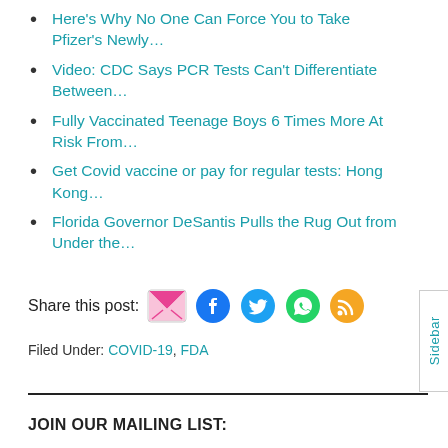Here's Why No One Can Force You to Take Pfizer's Newly…
Video: CDC Says PCR Tests Can't Differentiate Between…
Fully Vaccinated Teenage Boys 6 Times More At Risk From…
Get Covid vaccine or pay for regular tests: Hong Kong…
Florida Governor DeSantis Pulls the Rug Out from Under the…
Share this post:
Filed Under: COVID-19, FDA
JOIN OUR MAILING LIST: